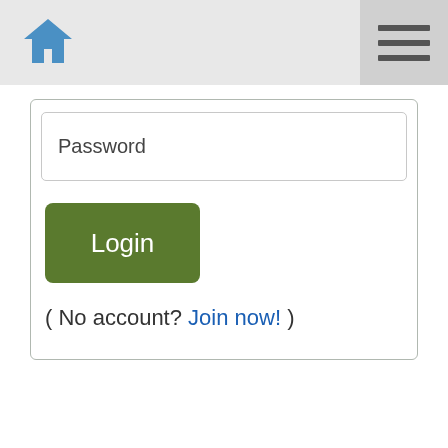[Figure (screenshot): Navigation bar with a blue home icon on the left and a hamburger menu button on the right]
Password
Login
( No account? Join now! )